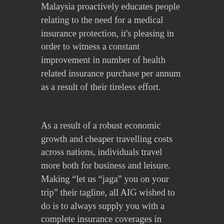Malaysia proactively educates people relating to the need for a medical insurance protection, it's pleasing in order to witness a constant improvement in number of health related insurance purchase per annum as a result of their tireless effort.
As a result of a robust economic growth and cheaper travelling costs across nations, individuals travel more both for business and leisure. Making “let us “jaga” you on your trip” their tagline, all AIG wished to do is to always supply you with a complete insurance coverages in order that individuals can travel that includes a mental comfort, realizing that they have every little thing covered.
Business Insurance
For corporations, AIG comes with a adaptable risk